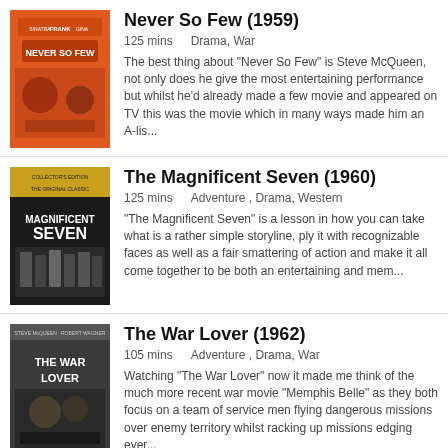[Figure (photo): Movie poster for Never So Few (1959), orange background with film characters]
Never So Few (1959)
125 mins    Drama, War
The best thing about "Never So Few" is Steve McQueen, not only does he give the most entertaining performance but whilst he'd already made a few movie and appeared on TV this was the movie which in many ways made him an A-lis...
[Figure (photo): Movie poster for The Magnificent Seven (1960), dark background with western characters]
The Magnificent Seven (1960)
125 mins    Adventure , Drama, Western
"The Magnificent Seven" is a lesson in how you can take what is a rather simple storyline, ply it with recognizable faces as well as a fair smattering of action and make it all come together to be both an entertaining and mem...
[Figure (photo): Movie poster for The War Lover (1962), dark tones with war imagery]
The War Lover (1962)
105 mins    Adventure , Drama, War
Watching "The War Lover" now it made me think of the much more recent war movie "Memphis Belle" as they both focus on a team of service men flying dangerous missions over enemy territory whilst racking up missions edging ever...